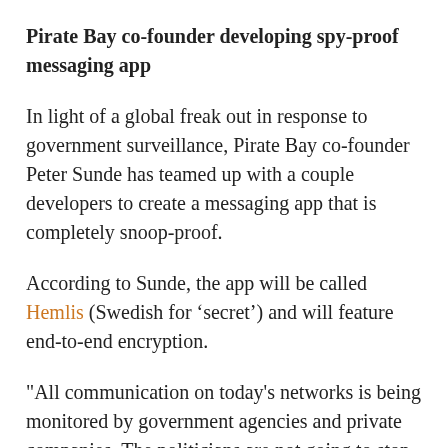Pirate Bay co-founder developing spy-proof messaging app
In light of a global freak out in response to government surveillance, Pirate Bay co-founder Peter Sunde has teamed up with a couple developers to create a messaging app that is completely snoop-proof.
According to Sunde, the app will be called Hemlis (Swedish for ‘secret’) and will feature end-to-end encryption.
"All communication on today's networks is being monitored by government agencies and private companies. The politicians are not going to stop it, they're actually asking for more," Sunde said in a video. "That's why we decided to build a messaging platform where no one can spy on you, not even us."